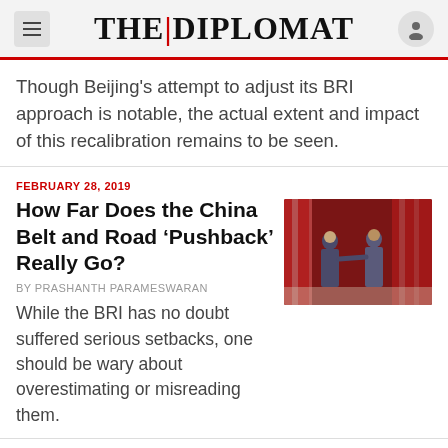THE DIPLOMAT
Though Beijing's attempt to adjust its BRI approach is notable, the actual extent and impact of this recalibration remains to be seen.
FEBRUARY 28, 2019
How Far Does the China Belt and Road ‘Pushback’ Really Go?
[Figure (photo): Two men shaking hands in front of red flags at a formal ceremony]
By PRASHANTH PARAMESWARAN
While the BRI has no doubt suffered serious setbacks, one should be wary about overestimating or misreading them.
Page 1 of 1